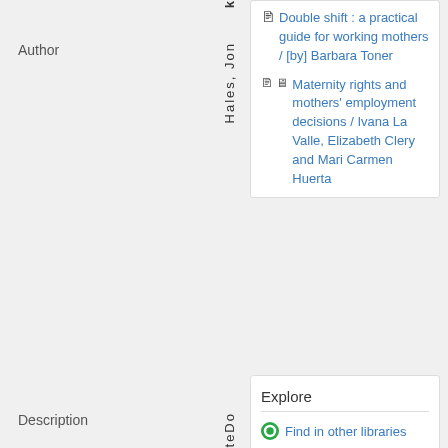k
Author
Hales, Jon
Double shift : a practical guide for working mothers / [by] Barbara Toner
Maternity rights and mothers' employment decisions / Ivana La Valle, Elizabeth Clery and Mari Carmen Huerta
Description
Leeds.:CorporateDo
Explore
Find in other libraries
Check eResources and Research Guides